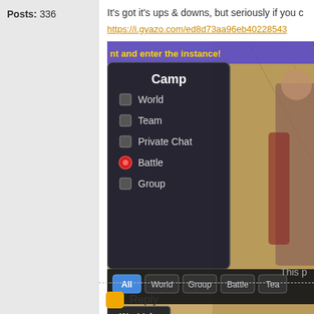Posts: 336
It's got it's ups & downs, but seriously if you c
https://i.gyazo.com/ed8d73aa96eb40228543...
[Figure (screenshot): Game screenshot showing a Camp chat options menu with checkboxes for World, Team, Private Chat, Battle, Group. Battle is checked with a red icon. Bottom bar shows tabs: All (selected, blue), World, Group, Battle, Tea... A 'World' button is at bottom left. Background shows a game scene with a character and text 'nt and enter the instance!']
I just realized this function has options to mute a
friend can PM me LOL
This p
Reply